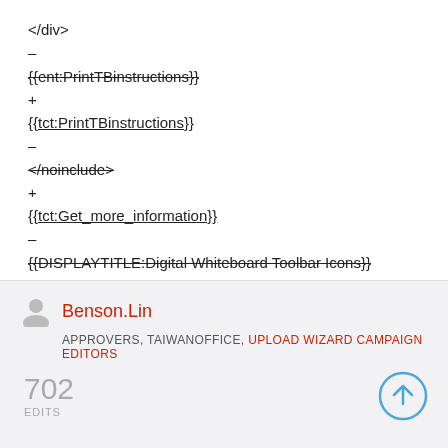</div>
–
{{ent:PrintTBinstructions}}
+
{{tct:PrintTBinstructions}}
–
</noinclude>
+
{{tct:Get_more_information}}
–
{{DISPLAYTITLE:Digital Whiteboard Toolbar Icons}}
+
{{DISPLAYTITLE:...}}
Benson.Lin
APPROVERS, TAIWANOFFICE, UPLOAD WIZARD CAMPAIGN EDITORS
702 EDITS